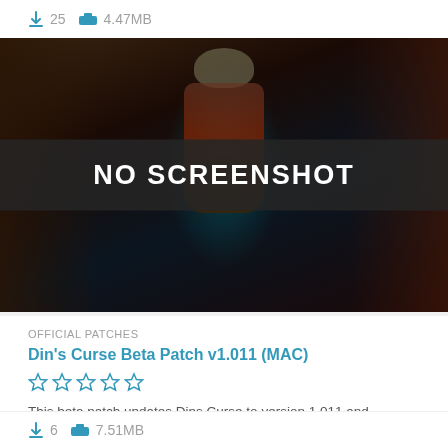25  4.47MB
[Figure (screenshot): Game screenshot of a fantasy character (demon/skull-faced creature with horns in red and teal armor) in a dark cave environment, with a 'NO SCREENSHOT' overlay banner across the middle]
OFFICIAL PATCHES
Din's Curse Beta Patch v1.011 (MAC)
☆☆☆☆☆
This beta patch updates Dins Curse to version 1.011 and includes a laundry list of changes updates and fixes.
6  7.51MB